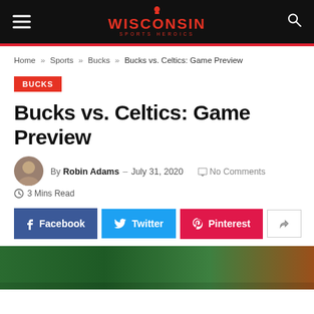Wisconsin Sports Heroics
Home » Sports » Bucks » Bucks vs. Celtics: Game Preview
BUCKS
Bucks vs. Celtics: Game Preview
By Robin Adams – July 31, 2020   No Comments
3 Mins Read
Facebook   Twitter   Pinterest
[Figure (photo): Hero image showing basketball-related green and orange color background, partial view of players/court]